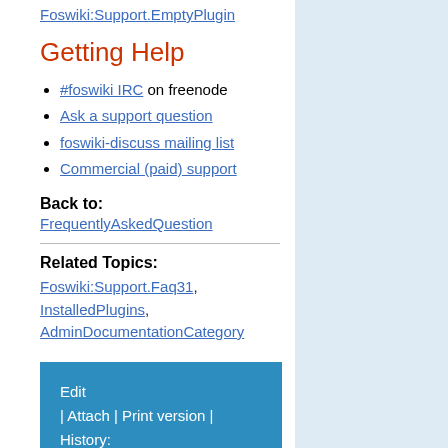Foswiki:Support.EmptyPlugin
Getting Help
#foswiki IRC on freenode
Ask a support question
foswiki-discuss mailing list
Commercial (paid) support
Back to:
FrequentlyAskedQuestion
Related Topics:
Foswiki:Support.Faq31, InstalledPlugins, AdminDocumentationCategory
Edit | Attach | Print version | History: r1 | View wiki